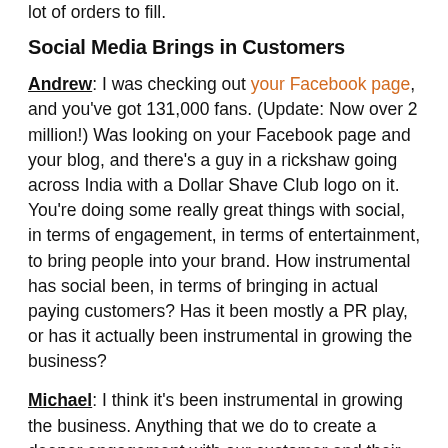lot of orders to fill.
Social Media Brings in Customers
Andrew: I was checking out your Facebook page, and you've got 131,000 fans. (Update: Now over 2 million!) Was looking on your Facebook page and your blog, and there's a guy in a rickshaw going across India with a Dollar Shave Club logo on it. You're doing some really great things with social, in terms of engagement, in terms of entertainment, to bring people into your brand. How instrumental has social been, in terms of bringing in actual paying customers? Has it been mostly a PR play, or has it actually been instrumental in growing the business?
Michael: I think it's been instrumental in growing the business. Anything that we do to create a deeper engagement with our customer and their communities that's connected to them really helps us drive the business. And that stuff is really fun and genuine, and our members love participating in the club and all that stuff. So yeah, I